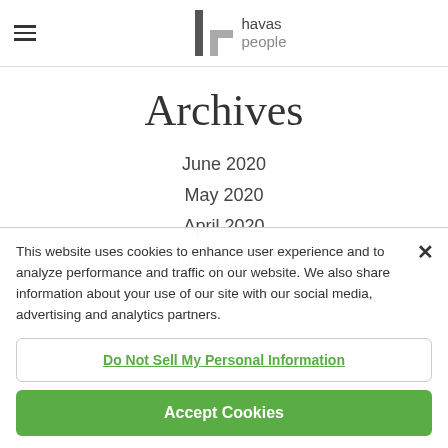[Figure (logo): Havas People logo with hamburger menu icon on the left]
Archives
June 2020
May 2020
April 2020
March 2020
This website uses cookies to enhance user experience and to analyze performance and traffic on our website. We also share information about your use of our site with our social media, advertising and analytics partners.
Do Not Sell My Personal Information
Accept Cookies